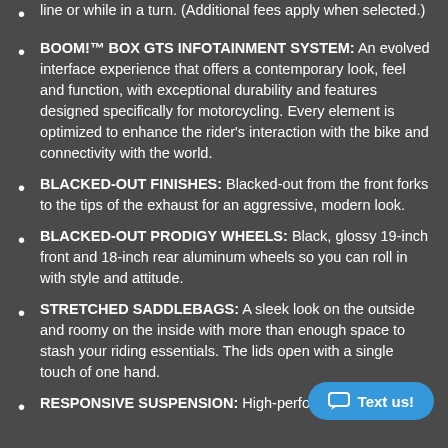line or while in a turn. (Additional fees apply when selected.)
BOOM!™ BOX GTS INFOTAINMENT SYSTEM: An evolved interface experience that offers a contemporary look, feel and function, with exceptional durability and features designed specifically for motorcycling. Every element is optimized to enhance the rider's interaction with the bike and connectivity with the world.
BLACKED-OUT FINISHES: Blacked-out from the front forks to the tips of the exhaust for an aggressive, modern look.
BLACKED-OUT PRODIGY WHEELS: Black, glossy 19-inch front and 18-inch rear aluminum wheels so you can roll in with style and attitude.
STRETCHED SADDLEBAGS: A sleek look on the outside and roomy on the inside with more than enough space to stash your riding essentials. The lids open with a single touch of one hand.
RESPONSIVE SUSPENSION: High-performing front and rear suspension with easily adjustable preload...